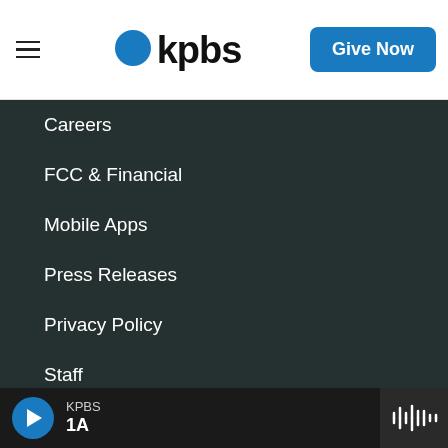[Figure (logo): KPBS logo with blue speech bubble and bold 'kpbs' text, hamburger menu icon on left, and blue 'Give Now' button on right]
Careers
FCC & Financial
Mobile Apps
Press Releases
Privacy Policy
Staff
Terms of Service
Help
Audience and Member Services
[Figure (other): Bottom player bar with blue play button, KPBS station label, show name '1A', and waveform icon on right]